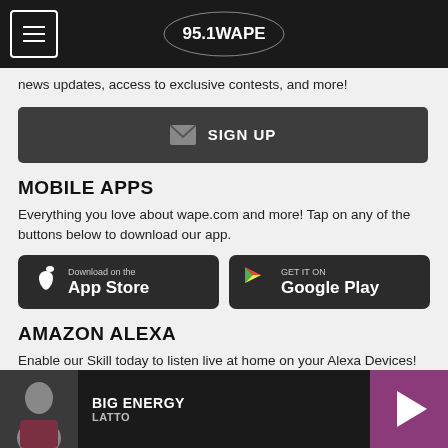95.1 WAPE
news updates, access to exclusive contests, and more!
SIGN UP
MOBILE APPS
Everything you love about wape.com and more! Tap on any of the buttons below to download our app.
[Figure (screenshot): Download on the App Store button]
[Figure (screenshot): Get it on Google Play button]
AMAZON ALEXA
Enable our Skill today to listen live at home on your Alexa Devices!
BIG ENERGY - LATTO